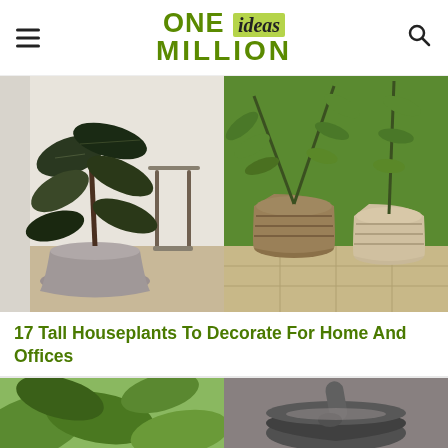ONE ideas MILLION
[Figure (photo): Left: rubber plant in a gray pot indoors against a white wall with a dark side table. Right: ZZ plant with rope-wrapped vase pots on a tiled floor.]
17 Tall Houseplants To Decorate For Home And Offices
[Figure (photo): Bottom left: close-up of green plant leaves. Bottom right: dark stone mortar and pestle with powder.]